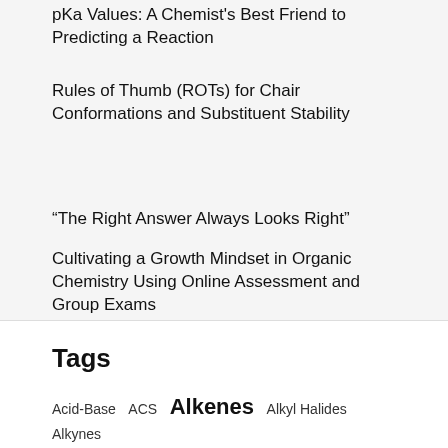pKa Values: A Chemist's Best Friend to Predicting a Reaction
Rules of Thumb (ROTs) for Chair Conformations and Substituent Stability
“The Right Answer Always Looks Right”
Cultivating a Growth Mindset in Organic Chemistry Using Online Assessment and Group Exams
Tags
Acid-Base  ACS  Alkenes  Alkyl Halides  Alkynes